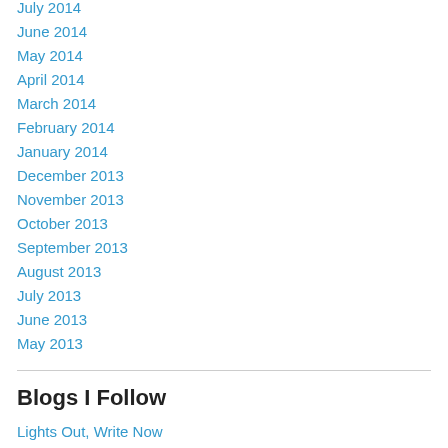July 2014
June 2014
May 2014
April 2014
March 2014
February 2014
January 2014
December 2013
November 2013
October 2013
September 2013
August 2013
July 2013
June 2013
May 2013
Blogs I Follow
Lights Out, Write Now
House Kitchen Magick